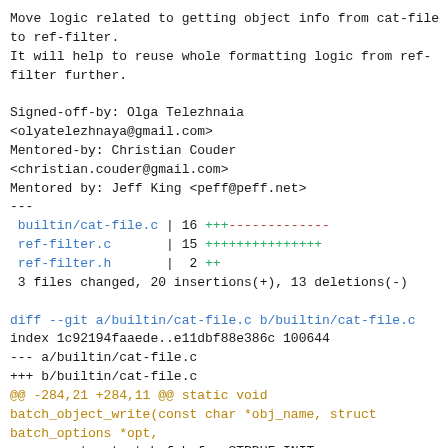Move logic related to getting object info from cat-file
to ref-filter.
It will help to reuse whole formatting logic from ref-
filter further.

Signed-off-by: Olga Telezhnaia
<olyatelezhnaya@gmail.com>
Mentored-by: Christian Couder
<christian.couder@gmail.com>
Mentored by: Jeff King <peff@peff.net>
---
 builtin/cat-file.c | 16 +++-------------
 ref-filter.c       | 15 +++++++++++++++
 ref-filter.h       |  2 ++
 3 files changed, 20 insertions(+), 13 deletions(-)

diff --git a/builtin/cat-file.c b/builtin/cat-file.c
index 1c92194faaede..e11dbf88e386c 100644
--- a/builtin/cat-file.c
+++ b/builtin/cat-file.c
@@ -284,21 +284,11 @@ static void
batch_object_write(const char *obj_name, struct
batch_options *opt,
        struct strbuf buf = STRBUF_INIT;
        struct ref_array_item item;

-       if (!data->skip_object_info &&
-           sha1_object_info_extended(data->oid.hash,
&data->info,